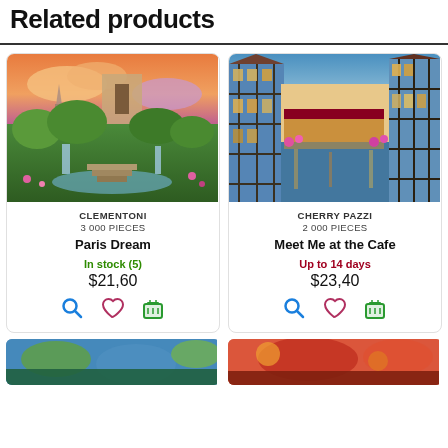Related products
[Figure (photo): Puzzle image: Paris Dream - fantasy landscape with Eiffel Tower, waterfalls, lush greenery]
CLEMENTONI
3 000 PIECES
Paris Dream
In stock (5)
$21,60
[Figure (photo): Puzzle image: Meet Me at the Cafe - European canal street scene with colorful buildings]
CHERRY PAZZI
2 000 PIECES
Meet Me at the Cafe
Up to 14 days
$23,40
[Figure (photo): Bottom left partial puzzle thumbnail]
[Figure (photo): Bottom right partial puzzle thumbnail]